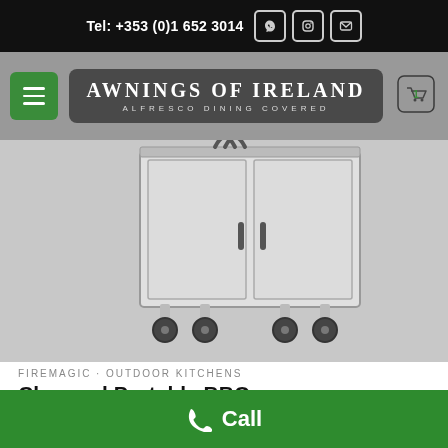Tel: +353 (0)1 652 3014
[Figure (logo): Awnings of Ireland logo - ALFRESCO DINING COVERED]
[Figure (photo): Stainless steel charcoal portable BBQ on wheels with two cabinet doors]
FIREMAGIC · OUTDOOR KITCHENS
Charcoal Portable BBQ
€5,514.09 incl. vat @ 23%
ADD TO BASKET
Call